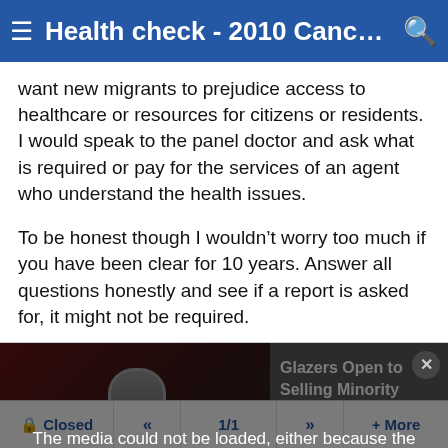Health check - 2010 Cancer & g...
want new migrants to prejudice access to healthcare or resources for citizens or residents. I would speak to the panel doctor and ask what is required or pay for the services of an agent who understand the health issues.
To be honest though I wouldn't worry too much if you have been clear for 10 years. Answer all questions honestly and see if a report is asked for, it might not be required.
[Figure (screenshot): Media player error overlay showing 'The media could not be loaded, either because the server or network failed or because the format is not supported.' with a news headline 'Glazers Open to Selling Minority Stake in Manchester United' visible in the background.]
Closed  «  1/1  »  + More